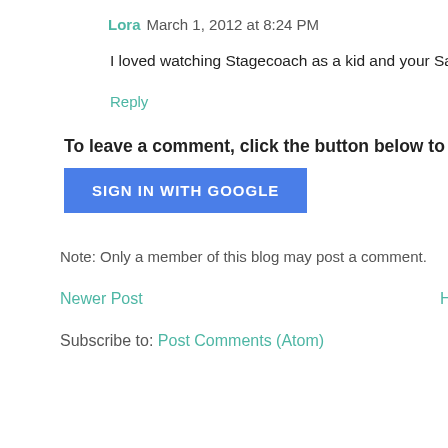Lora  March 1, 2012 at 8:24 PM
I loved watching Stagecoach as a kid and your Saturd
Reply
To leave a comment, click the button below to sign in w
[Figure (other): Blue 'SIGN IN WITH GOOGLE' button]
Note: Only a member of this blog may post a comment.
Newer Post
Home
Subscribe to: Post Comments (Atom)